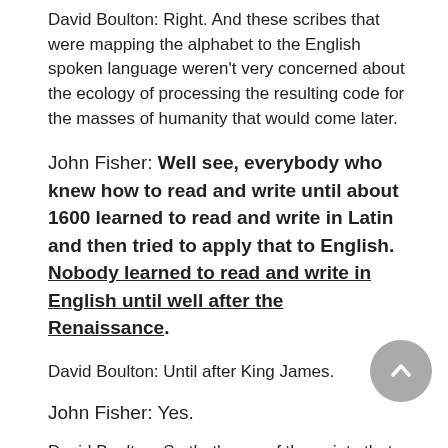David Boulton: Right. And these scribes that were mapping the alphabet to the English spoken language weren't very concerned about the ecology of processing the resulting code for the masses of humanity that would come later.
John Fisher: Well see, everybody who knew how to read and write until about 1600 learned to read and write in Latin and then tried to apply that to English. Nobody learned to read and write in English until well after the Renaissance.
David Boulton: Until after King James.
John Fisher: Yes.
David Boulton: So that's one of the points that we're most interested in our series. If we step back from the history for